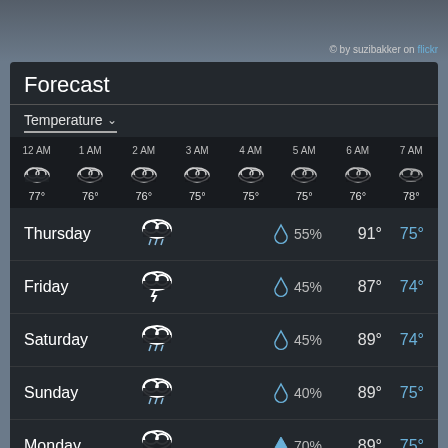© by suzibakker on flickr
Forecast
Temperature ▾
| Time | Icon | Temp |
| --- | --- | --- |
| 12 AM | cloud | 77° |
| 1 AM | cloud | 76° |
| 2 AM | cloud | 76° |
| 3 AM | cloud | 75° |
| 4 AM | cloud | 75° |
| 5 AM | cloud | 75° |
| 6 AM | cloud | 76° |
| 7 AM | cloud | 78° |
| Day | Icon | Rain% | High | Low |
| --- | --- | --- | --- | --- |
| Thursday | rain-cloud | 55% | 91° | 75° |
| Friday | storm-cloud | 45% | 87° | 74° |
| Saturday | rain-cloud | 45% | 89° | 74° |
| Sunday | rain-cloud | 40% | 89° | 75° |
| Monday | storm-cloud | 70% | 89° | 75° |
| Tuesday | rain-cloud | 75% | 87° | 74° |
| Wednesday | storm-cloud | 60% | 89° | 74° |